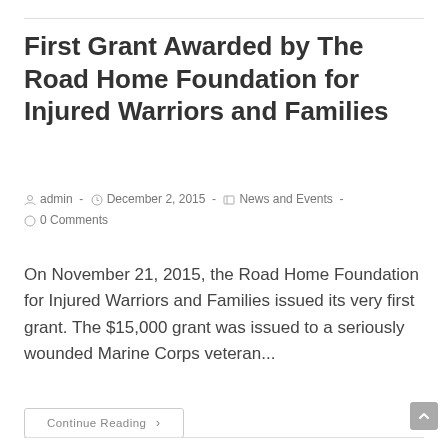First Grant Awarded by The Road Home Foundation for Injured Warriors and Families
admin  -  December 2, 2015  -  News and Events  -  0 Comments
On November 21, 2015, the Road Home Foundation for Injured Warriors and Families issued its very first grant. The $15,000 grant was issued to a seriously wounded Marine Corps veteran...
Continue Reading ›